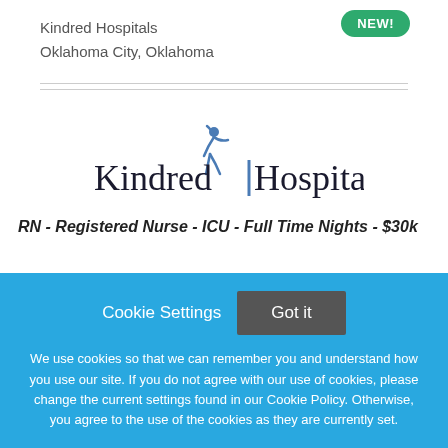Kindred Hospitals
Oklahoma City, Oklahoma
[Figure (logo): Kindred Hospitals logo with blue figure and text]
RN - Registered Nurse - ICU - Full Time Nights - $30k
Cookie Settings  Got it

We use cookies so that we can remember you and understand how you use our site. If you do not agree with our use of cookies, please change the current settings found in our Cookie Policy. Otherwise, you agree to the use of the cookies as they are currently set.